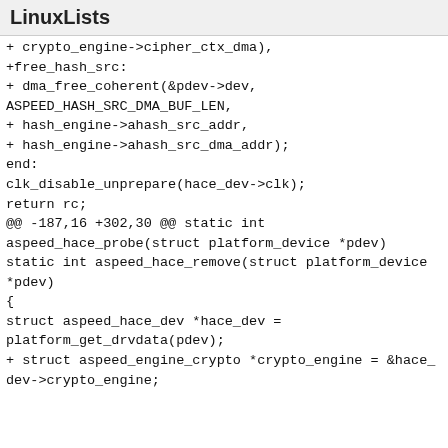LinuxLists
+ crypto_engine->cipher_ctx_dma),
+free_hash_src:
+ dma_free_coherent(&pdev->dev,
ASPEED_HASH_SRC_DMA_BUF_LEN,
+ hash_engine->ahash_src_addr,
+ hash_engine->ahash_src_dma_addr);
end:
clk_disable_unprepare(hace_dev->clk);
return rc;
@@ -187,16 +302,30 @@ static int
aspeed_hace_probe(struct platform_device *pdev)
static int aspeed_hace_remove(struct platform_device *pdev)
{
struct aspeed_hace_dev *hace_dev =
platform_get_drvdata(pdev);
+ struct aspeed_engine_crypto *crypto_engine = &hace_dev->crypto_engine;